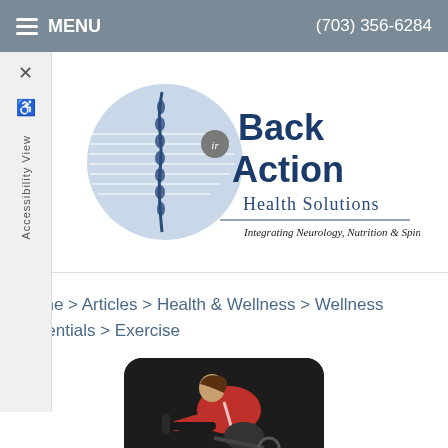MENU   (703) 356-6284
[Figure (logo): Back in Action Health Solutions logo — circular blue and grey spine/globe graphic with text 'Back in Action Health Solutions — Integrating Neurology, Nutrition & Spinecare']
Home > Articles > Health & Wellness > Wellness Essentials > Exercise
[Figure (photo): Woman in red jacket leaning over exercise bike handlebars against dark background]